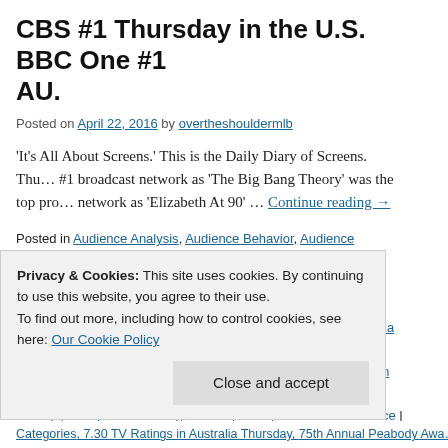CBS #1 Thursday in the U.S. BBC One #1 AU.
Posted on April 22, 2016 by overtheshouldermlb
'It's All About Screens.' This is the Daily Diary of Screens. Thu… #1 broadcast network as 'The Big Bang Theory' was the top pro… network as 'Elizabeth At 90' … Continue reading →
Posted in Audience Analysis, Audience Behavior, Audience Management, Bro… TV Ratings in the UK, Broadcast TV Ratings in US, Cable TV Ratings, Cinem… Direct, Hispanic TV Ratings, Late Night TV Ratings, Media, Media Analysis, M… By, Music To Read overtheshouldermedia by, Television Program Renewals, … Ratings, Today In TV History, Uncategorized, Weekend Box Office | Tagged 'A… Friday in Australia, 'American Grit' TV Ratings Thursday, 'Better Homes & Ga… Australia Friday 042216, 'DC Legends of Tomorrow' TV Ratings Thursday, 'El… Thursday 042116, 'Game Of Silence' TV Ratings Thursday, 'Hot Seat' TV Rat…
Privacy & Cookies: This site uses cookies. By continuing to use this website, you agree to their use. To find out more, including how to control cookies, see here: Our Cookie Policy
Categories, 7.30 TV Ratings in Australia Thursday, 75th Annual Peabody Awa…